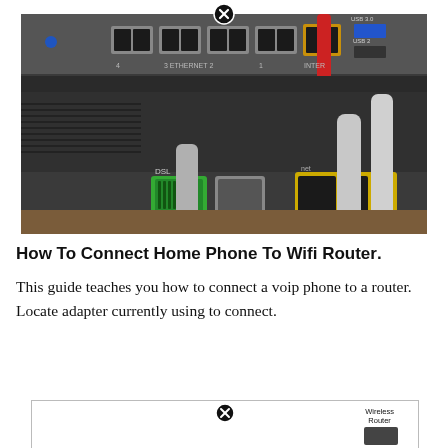[Figure (photo): Close-up photo of the back panel of a network router showing ethernet ports labeled 1-4 and ETHERNET, an INTERNET port with a red cable plugged in, DSL/broadband green port, yellow ports labeled 1-3, USB 3.0 and USB 2 ports, with multiple cables (grey, red, yellow) plugged in. A circular close/X button icon overlaid at the top center.]
How To Connect Home Phone To Wifi Router.
This guide teaches you how to connect a voip phone to a router. Locate adapter currently using to connect.
[Figure (illustration): Partial diagram showing a network setup with a close/X button icon at center and a 'Wireless Router' label with a router icon on the right side. Bottom portion of the image is cut off.]